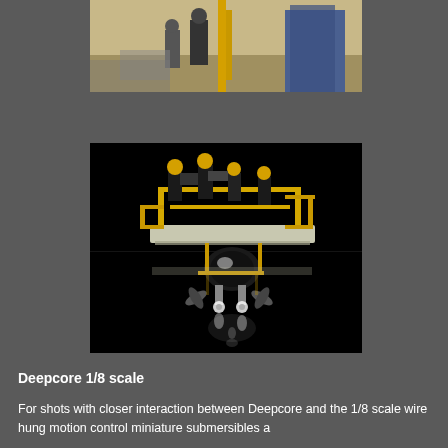[Figure (photo): Top portion of a photo showing people/crew on what appears to be a film set or outdoor location, partially cut off at top of page]
[Figure (photo): A large black-background photo showing a 1/8 scale miniature model of the Deepcore submersible platform with crew members visible on top, reflected in water below. The model features yellow structural framework, a flat deck, and various mechanical details.]
Deepcore 1/8 scale
For shots with closer interaction between Deepcore and the 1/8 scale wire hung motion control miniature submersibles a